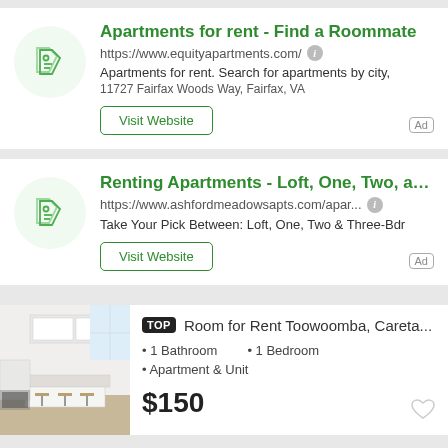[Figure (infographic): Ad card 1: Apartments for rent icon with price tags]
Apartments for rent - Find a Roommate
https://www.equityapartments.com/
Apartments for rent. Search for apartments by city,
11727 Fairfax Woods Way, Fairfax, VA
Visit Website
[Figure (infographic): Ad card 2: Renting Apartments icon with price tags]
Renting Apartments - Loft, One, Two, and T...
https://www.ashfordmeadowsapts.com/apar...
Take Your Pick Between: Loft, One, Two & Three-Bdr
Visit Website
[Figure (photo): Kitchen interior photo showing white cabinets and island]
Room for Rent Toowoomba, Careta...
• 1 Bathroom
• 1 Bedroom
• Apartment & Unit
$150